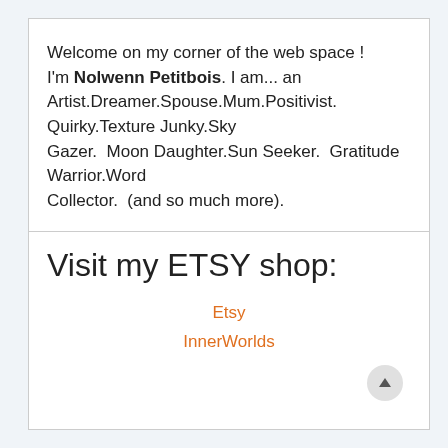Welcome on my corner of the web space ! I'm Nolwenn Petitbois. I am... an Artist.Dreamer.Spouse.Mum.Positivist. Quirky.Texture Junky.Sky Gazer. Moon Daughter.Sun Seeker. Gratitude Warrior.Word Collector. (and so much more).
Visit my ETSY shop:
Etsy InnerWorlds